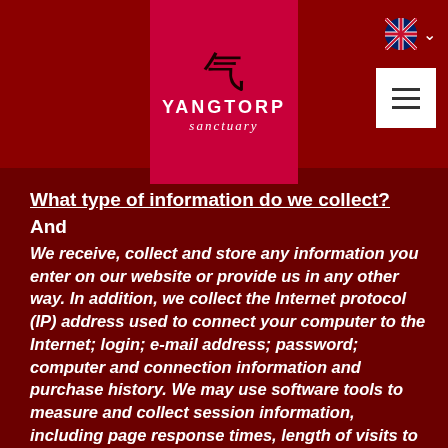[Figure (logo): Yangtorp Sanctuary logo with Chinese character symbol on crimson/pink background, with UK flag language selector and hamburger menu button]
What type of information do we collect?
And
We receive, collect and store any information you enter on our website or provide us in any other way. In addition, we collect the Internet protocol (IP) address used to connect your computer to the Internet; login; e-mail address; password; computer and connection information and purchase history. We may use software tools to measure and collect session information, including page response times, length of visits to certain pages